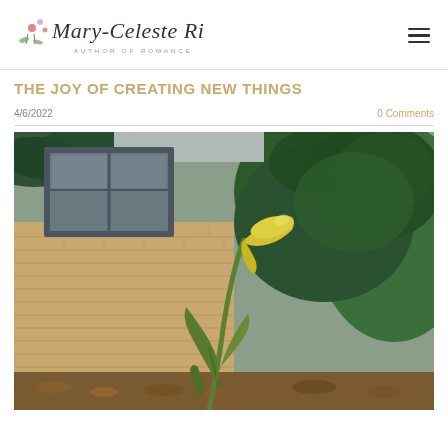Mary-Celeste Ricks — Author of Romance
THE JOY OF CREATING NEW THINGS
4/6/2022
0 Comments
[Figure (photo): A close-up photograph of a daffodil bud (yellow, not yet open) on a green stem with leaves, in front of a brick wall with a dark-framed window and green shrub/evergreen bushes in the background. Fall leaves on the ground below.]